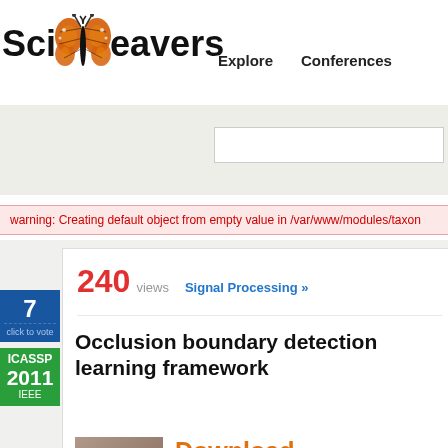[Figure (logo): SciWeavers logo with butterfly icon and text]
Explore   Conferences
warning: Creating default object from empty value in /var/www/modules/taxon
240 views   Signal Processing »
Occlusion boundary detection learning framework
Download